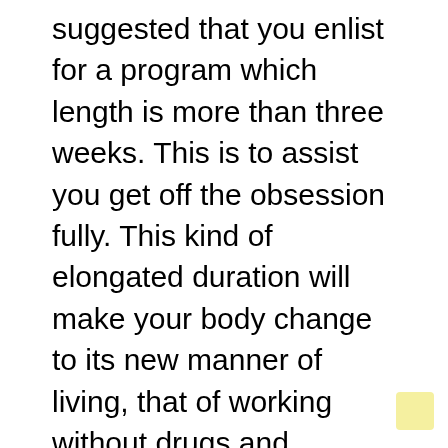suggested that you enlist for a program which length is more than three weeks. This is to assist you get off the obsession fully. This kind of elongated duration will make your body change to its new manner of living, that of working without drugs and alcohol. Make sure that you investigate the length of your sojourn in the program and also understand what will be happening in the course of that period before getting your money for the